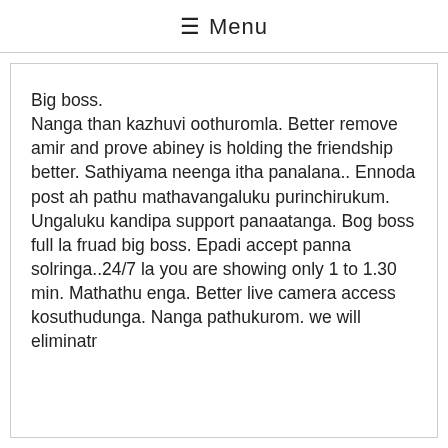≡ Menu
Big boss.
Nanga than kazhuvi oothuromla. Better remove amir and prove abiney is holding the friendship better. Sathiyama neenga itha panalana.. Ennoda post ah pathu mathavangaluku purinchirukum. Ungaluku kandipa support panaatanga. Bog boss full la fruad big boss. Epadi accept panna solringa..24/7 la you are showing only 1 to 1.30 min. Mathathu enga. Better live camera access kosuthudunga. Nanga pathukurom. we will eliminatr